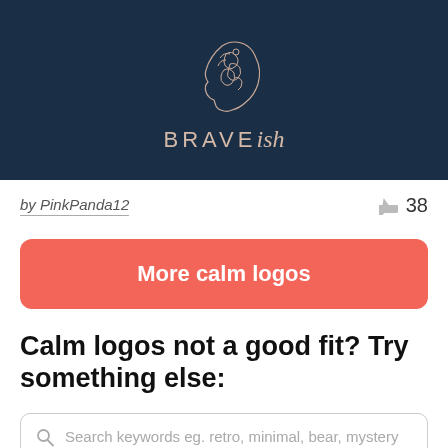[Figure (logo): BRAVEish logo — white line-art illustration of a human head profile with floral/brain motif on dark navy background, with brand name BRAVE in spaced caps and 'ish' in italic script below]
by PinkPanda12
38
More calm logos
Calm logos not a good fit? Try something else:
Search keywords eg. retro, minimal, bear, mystery